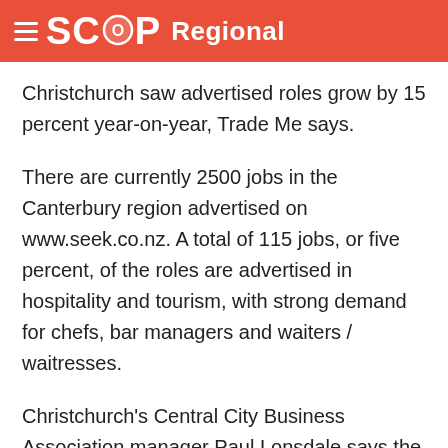SCOOP Regional
Christchurch saw advertised roles grow by 15 percent year-on-year, Trade Me says.
There are currently 2500 jobs in the Canterbury region advertised on www.seek.co.nz. A total of 115 jobs, or five percent, of the roles are advertised in hospitality and tourism, with strong demand for chefs, bar managers and waiters / waitresses.
Christchurch's Central City Business Association manager Paul Lonsdale says the growing night life in Christchurch is a promising sign the city is getting back on its feet.